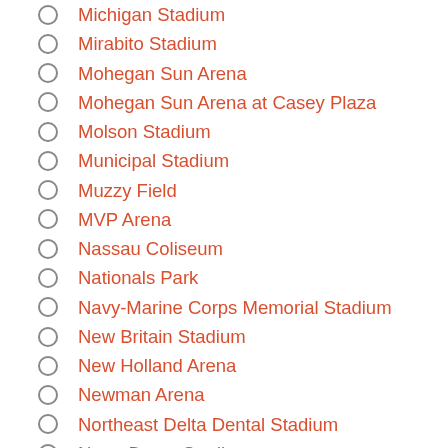Michigan Stadium
Mirabito Stadium
Mohegan Sun Arena
Mohegan Sun Arena at Casey Plaza
Molson Stadium
Municipal Stadium
Muzzy Field
MVP Arena
Nassau Coliseum
Nationals Park
Navy-Marine Corps Memorial Stadium
New Britain Stadium
New Holland Arena
Newman Arena
Northeast Delta Dental Stadium
Notre Dame Stadium